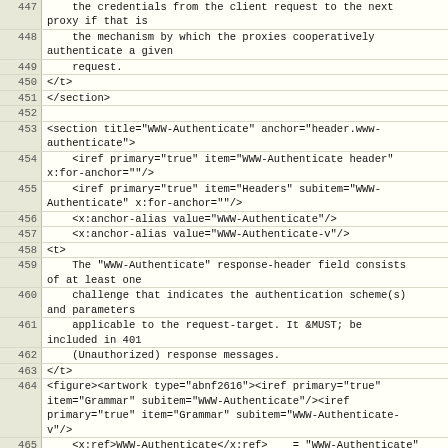Code listing with XML content, lines 447-466
447: the credentials from the client request to the next proxy if that is
448: the mechanism by which the proxies cooperatively authenticate a given
449: request.
450: </t>
451: </section>
452:
453: <section title="WWW-Authenticate" anchor="header.www-authenticate">
454: <iref primary="true" item="WWW-Authenticate header" x:for-anchor=""/>
455: <iref primary="true" item="Headers" subitem="WWW-Authenticate" x:for-anchor=""/>
456: <x:anchor-alias value="WWW-Authenticate"/>
457: <x:anchor-alias value="WWW-Authenticate-v"/>
458: <t>
459: The "WWW-Authenticate" response-header field consists of at least one
460: challenge that indicates the authentication scheme(s) and parameters
461: applicable to the request-target. It &MUST; be included in 401
462: (Unauthorized) response messages.
463: </t>
464: <figure><artwork type="abnf2616"><iref primary="true" item="Grammar" subitem="WWW-Authenticate"/><iref primary="true" item="Grammar" subitem="WWW-Authenticate-v"/>
465: <x:ref>WWW-Authenticate</x:ref>    = "WWW-Authenticate" ":" <x:ref>OWS</x:ref> <x:ref>WWW-Authenticate-v</x:ref>
466: <x:ref>WWW-Authenticate-v</x:ref> = 1#<x:ref>challenge</x:ref>